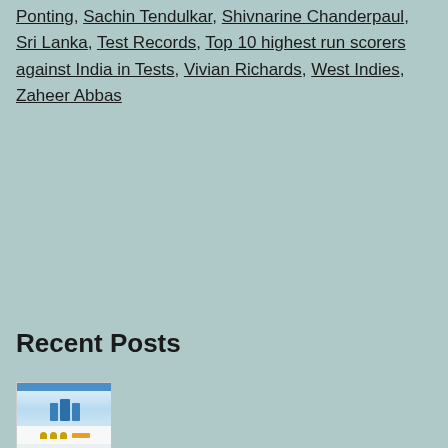Ponting, Sachin Tendulkar, Shivnarine Chanderpaul, Sri Lanka, Test Records, Top 10 highest run scorers against India in Tests, Vivian Richards, West Indies, Zaheer Abbas
Recent Posts
[Figure (screenshot): Screenshot of a website showing mobile phones and a blue sky background with trophy icons at the bottom]